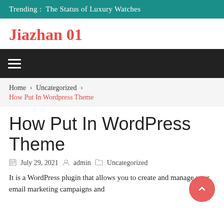Trending :  The Status of Luxury Watches
Jiazhan 01
Home › Uncategorized › How Put In Wordpress Theme
How Put In WordPress Theme
July 29, 2021  admin  Uncategorized
It is a WordPress plugin that allows you to create and manage your email marketing campaigns and